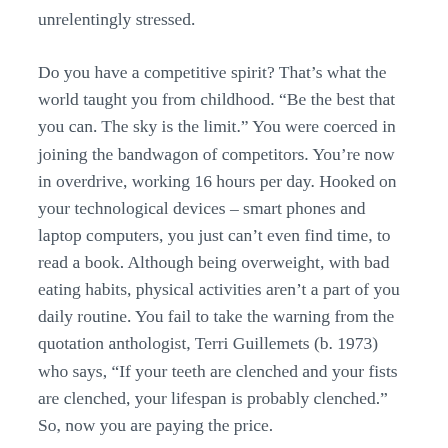unrelentingly stressed.
Do you have a competitive spirit? That’s what the world taught you from childhood. “Be the best that you can. The sky is the limit.” You were coerced in joining the bandwagon of competitors. You’re now in overdrive, working 16 hours per day. Hooked on your technological devices – smart phones and laptop computers, you just can’t even find time, to read a book. Although being overweight, with bad eating habits, physical activities aren’t a part of you daily routine. You fail to take the warning from the quotation anthologist, Terri Guillemets (b. 1973) who says, “If your teeth are clenched and your fists are clenched, your lifespan is probably clenched.” So, now you are paying the price.
How can you be happy again?